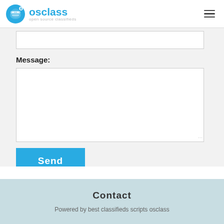osclass open source classifieds
Message:
[Figure (screenshot): A web contact form with an input field at the top, a Message label, a large textarea, and a Send button below]
Contact
Powered by best classifieds scripts osclass